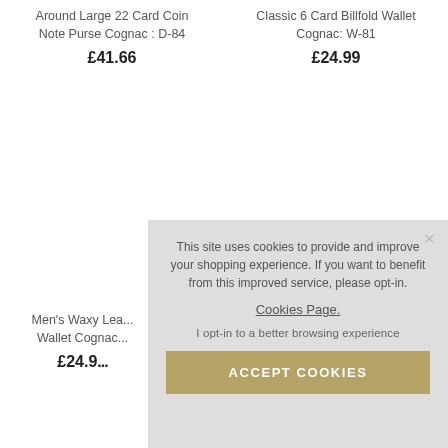Around Large 22 Card Coin Note Purse Cognac : D-84
£41.66
Classic 6 Card Billfold Wallet Cognac: W-81
£24.99
Men's Waxy Lea... Wallet Cognac...
£24.9...
This site uses cookies to provide and improve your shopping experience. If you want to benefit from this improved service, please opt-in.
Cookies Page.
I opt-in to a better browsing experience
ACCEPT COOKIES